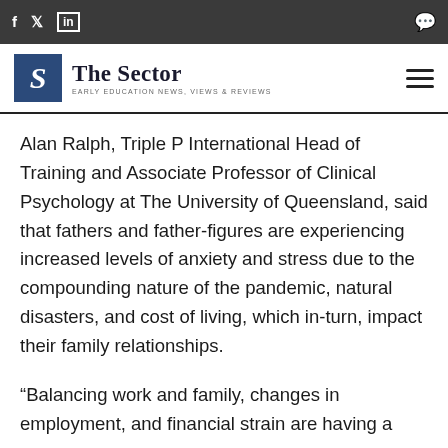f  t  in  [comment icon]
[Figure (logo): The Sector logo — blue square with italic S, beside text 'The Sector' and tagline 'EARLY EDUCATION NEWS, VIEWS & REVIEWS']
Alan Ralph, Triple P International Head of Training and Associate Professor of Clinical Psychology at The University of Queensland, said that fathers and father-figures are experiencing increased levels of anxiety and stress due to the compounding nature of the pandemic, natural disasters, and cost of living, which in-turn, impact their family relationships.
“Balancing work and family, changes in employment, and financial strain are having a